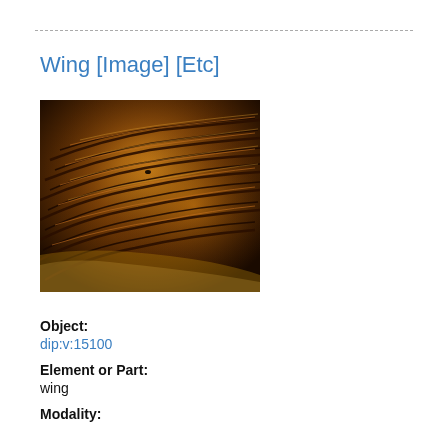Wing [Image] [Etc]
[Figure (photo): Microscopic close-up image of an insect wing showing feather-like structures in dark brown and amber/golden tones]
Object: dip:v:15100
Element or Part: wing
Modality: